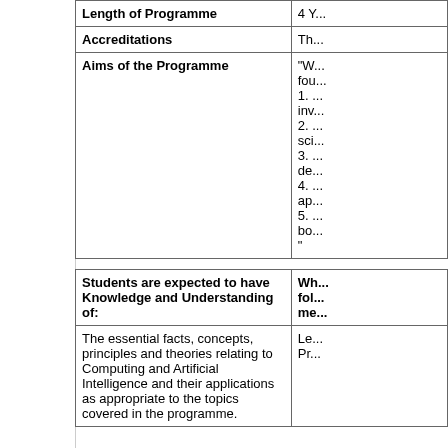|  |  |
| --- | --- |
| Length of Programme | 4 Y... |
| Accreditations | Th... |
| Aims of the Programme | "W...
fou...
1. ...
inv...
2. ...
sci...
3. ...
de...
4. ...
ap...
5. ...
bo...
" |
| Students are expected to have Knowledge and Understanding of: | Wh...
fol...
me... |
| --- | --- |
| The essential facts, concepts, principles and theories relating to Computing and Artificial Intelligence and their applications as appropriate to the topics covered in the programme. | Le...
Pr... |